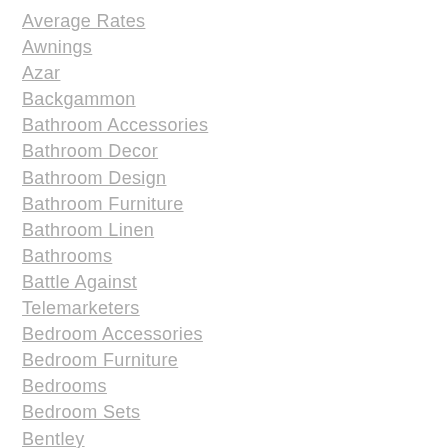Average Rates
Awnings
Azar
Backgammon
Bathroom Accessories
Bathroom Decor
Bathroom Design
Bathroom Furniture
Bathroom Linen
Bathrooms
Battle Against Telemarketers
Bedroom Accessories
Bedroom Furniture
Bedrooms
Bedroom Sets
Bentley
Best Cape Cod
Best Car Insurance